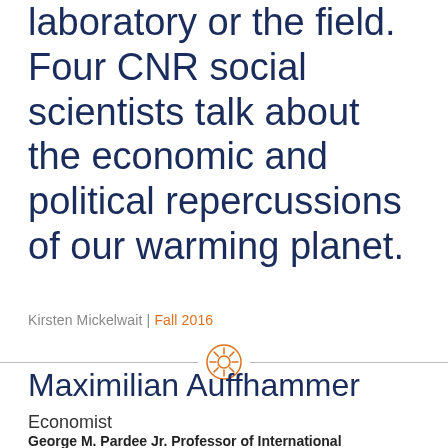laboratory or the field. Four CNR social scientists talk about the economic and political repercussions of our warming planet.
Kirsten Mickelwait | Fall 2016
[Figure (illustration): Decorative horizontal divider with an orange gear/sun icon in the center flanked by horizontal lines]
Maximilian Auffhammer
Economist
George M. Pardee Jr. Professor of International